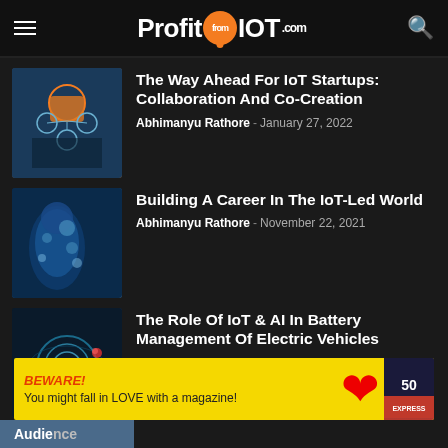ProfitfromIOT.com
The Way Ahead For IoT Startups: Collaboration And Co-Creation
Abhimanyu Rathore - January 27, 2022
Building A Career In The IoT-Led World
Abhimanyu Rathore - November 22, 2021
The Role Of IoT & AI In Battery Management Of Electric Vehicles
Abhimanyu Rathore - November 12, 2021
BEWARE! You might fall in LOVE with a magazine!
Audience